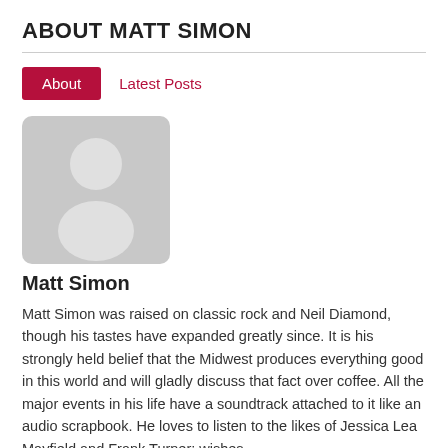ABOUT MATT SIMON
[Figure (illustration): Generic gray placeholder avatar silhouette showing a person's head and shoulders outline on a light gray rounded-rectangle background]
Matt Simon
Matt Simon was raised on classic rock and Neil Diamond, though his tastes have expanded greatly since. It is his strongly held belief that the Midwest produces everything good in this world and will gladly discuss that fact over coffee. All the major events in his life have a soundtrack attached to it like an audio scrapbook. He loves to listen to the likes of Jessica Lea Mayfield and Frank Turner; wishes